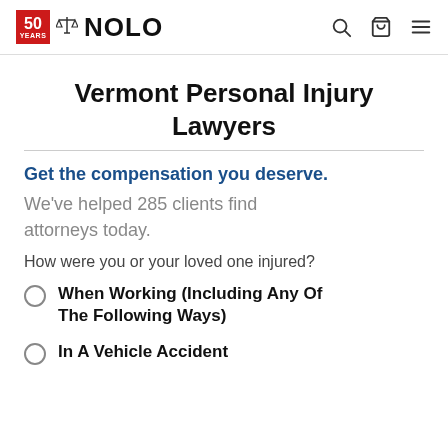NOLO — 50 YEARS
Vermont Personal Injury Lawyers
Get the compensation you deserve.
We've helped 285 clients find attorneys today.
How were you or your loved one injured?
When Working (Including Any Of The Following Ways)
In A Vehicle Accident